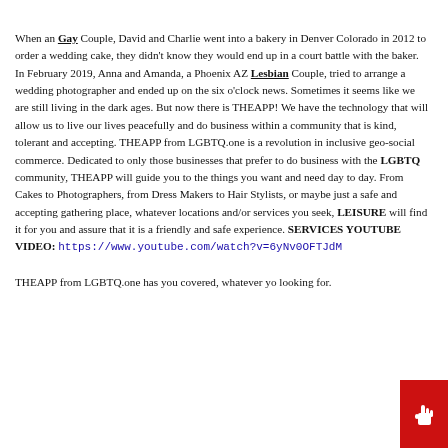When an Gay Couple, David and Charlie went into a bakery in Denver Colorado in 2012 to order a wedding cake, they didn't know they would end up in a court battle with the baker. In February 2019, Anna and Amanda, a Phoenix AZ Lesbian Couple, tried to arrange a wedding photographer and ended up on the six o'clock news. Sometimes it seems like we are still living in the dark ages. But now there is THEAPP! We have the technology that will allow us to live our lives peacefully and do business within a community that is kind, tolerant and accepting. THEAPP from LGBTQ.one is a revolution in inclusive geo-social commerce. Dedicated to only those businesses that prefer to do business with the LGBTQ community, THEAPP will guide you to the things you want and need day to day. From Cakes to Photographers, from Dress Makers to Hair Stylists, or maybe just a safe and accepting gathering place, whatever locations and/or services you seek, LEISURE will find it for you and assure that it is a friendly and safe experience. SERVICES YOUTUBE VIDEO: https://www.youtube.com/watch?v=6yNv0OFTJdM

THEAPP from LGBTQ.one has you covered, whatever you looking for.
[Figure (other): Red button with pointing hand cursor icon in lower right corner]